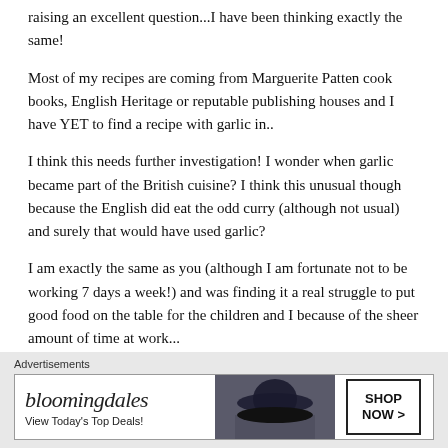raising an excellent question...I have been thinking exactly the same!
Most of my recipes are coming from Marguerite Patten cook books, English Heritage or reputable publishing houses and I have YET to find a recipe with garlic in..
I think this needs further investigation! I wonder when garlic became part of the British cuisine? I think this unusual though because the English did eat the odd curry (although not usual) and surely that would have used garlic?
I am exactly the same as you (although I am fortunate not to be working 7 days a week!) and was finding it a real struggle to put good food on the table for the children and I because of the sheer amount of time at work...
Advertisements
[Figure (other): Bloomingdales advertisement banner showing logo, 'View Today's Top Deals!' text, a woman in a hat, and 'SHOP NOW >' button]